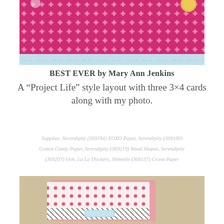[Figure (photo): Top portion of a scrapbook layout showing pink cross/plus pattern paper with a light blue decorative strip at the bottom, and decorative embellishments visible at top corners]
BEST EVER by Mary Ann Jenkins
A “Project Life” style layout with three 3×4 cards along with my photo.
Supplies: Serendipity (369184) XOXO Paper, Serendipity (369180) Cotton Candy Paper, Serendipity (369219) Wood Shapes, Serendipity (369207) Ooh, La La Thickers, Shimelle (368137) Crane Paper
[Figure (photo): Bottom portion of a scrapbook layout showing a white card with pink polka dots pattern, a pink card behind it, and a decorative element with black and white stripes and a light blue label/tag, all displayed against a tan/beige background]